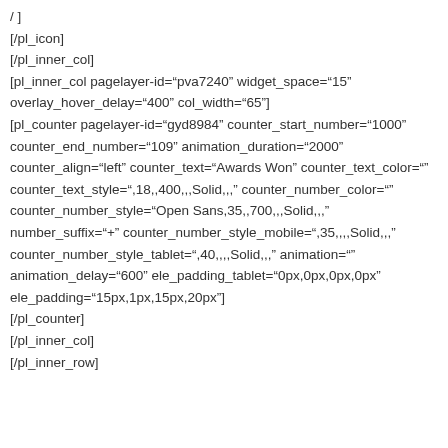/ ]
[/pl_icon]
[/pl_inner_col]
[pl_inner_col pagelayer-id="pva7240" widget_space="15" overlay_hover_delay="400" col_width="65"]
[pl_counter pagelayer-id="gyd8984" counter_start_number="1000" counter_end_number="109" animation_duration="2000" counter_align="left" counter_text="Awards Won" counter_text_color="" counter_text_style=",18,,400,,,Solid,,," counter_number_color="" counter_number_style="Open Sans,35,,700,,,Solid,,," number_suffix="+" counter_number_style_mobile=",35,,,,Solid,,," counter_number_style_tablet=",40,,,,Solid,,," animation="" animation_delay="600" ele_padding_tablet="0px,0px,0px,0px" ele_padding="15px,1px,15px,20px"]
[/pl_counter]
[/pl_inner_col]
[/pl_inner_row]